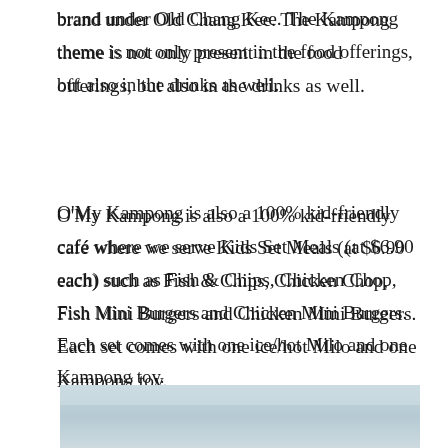brand under Old Chang Kee. The Kampong theme is not only present in the food offerings, but also in the drinks as well.
O'My Kampong is also a 100% kid-friendly café where we serve Kids Set Meals (at $6.90 each) such as Fish & Chips, Chicken Chop, Fish Mini Burgers and Chicken Mini Burgers. Each set comes with one ice/hot Milo and one Kampong toy.
To learn more about them, visit: https://www.facebook.com/OMyKampong
[Figure (photo): Bottom portion of a photo, showing a light blue/grey sky or background, partially visible at the bottom of the page.]